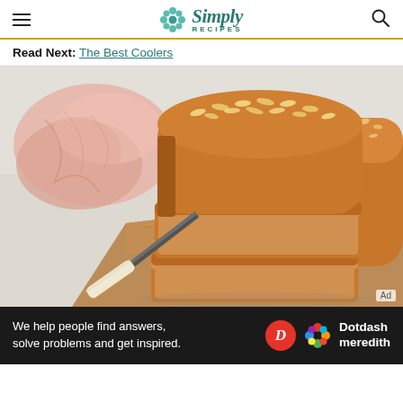Simply Recipes
Read Next: The Best Coolers
[Figure (photo): Sliced oat-topped whole wheat sandwich bread loaves on a wooden cutting board with a bread knife and pink linen, food photography]
We help people find answers, solve problems and get inspired. Dotdash meredith